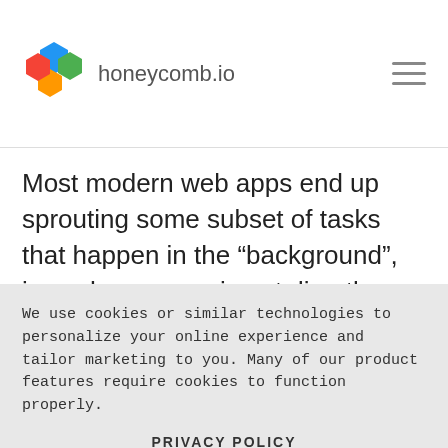honeycomb.io
Most modern web apps end up sprouting some subset of tasks that happen in the “background”, i.e., when a user is not directly waiting on the request from a server to finish. These types of tasks range across all kinds of
We use cookies or similar technologies to personalize your online experience and tailor marketing to you. Many of our product features require cookies to function properly.
PRIVACY POLICY
ACCEPT ALL COOKIES